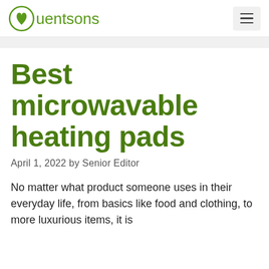Quentsons
Best microwavable heating pads
April 1, 2022 by Senior Editor
No matter what product someone uses in their everyday life, from basics like food and clothing, to more luxurious items, it is